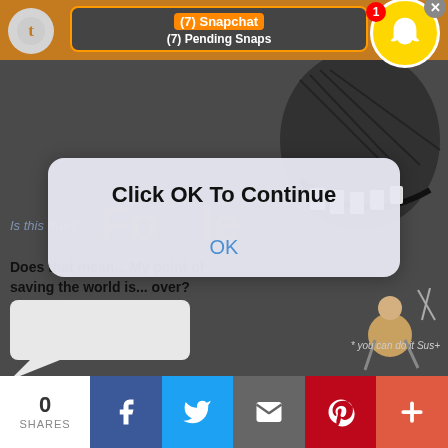[Figure (screenshot): Screenshot of a mobile browser showing a Tumblr page with a Snapchat notification overlay reading '(7) Snapchat / (7) Pending Snaps', a dialog box with 'Click OK To Continue' and an OK button, comic book artwork in the background, and social sharing buttons at the bottom showing 0 SHARES.]
(7) Snapchat
(7) Pending Snaps
Click OK To Continue
OK
Is this true?
Does that mean...My point of saving the world is... over?
* you can do it Sus+
0
SHARES